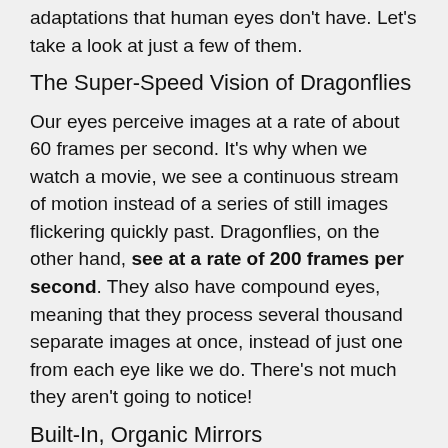adaptations that human eyes don't have. Let's take a look at just a few of them.
The Super-Speed Vision of Dragonflies
Our eyes perceive images at a rate of about 60 frames per second. It's why when we watch a movie, we see a continuous stream of motion instead of a series of still images flickering quickly past. Dragonflies, on the other hand, see at a rate of 200 frames per second. They also have compound eyes, meaning that they process several thousand separate images at once, instead of just one from each eye like we do. There's not much they aren't going to notice!
Built-In, Organic Mirrors
Have you ever shone a flashlight into your backyard at night, only to see two bright lights blinking back at you? Maybe it was your dog or